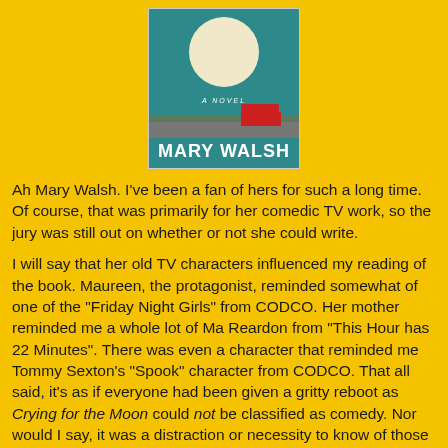[Figure (illustration): Book cover for a novel by Mary Walsh. Teal/green background with a large pale moon, a road scene with a red truck, and the author name MARY WALSH in bold white text at the bottom.]
Ah Mary Walsh. I've been a fan of hers for such a long time. Of course, that was primarily for her comedic TV work, so the jury was still out on whether or not she could write.
I will say that her old TV characters influenced my reading of the book. Maureen, the protagonist, reminded somewhat of one of the "Friday Night Girls" from CODCO. Her mother reminded me a whole lot of Ma Reardon from "This Hour has 22 Minutes". There was even a character that reminded me Tommy Sexton's "Spook" character from CODCO. That all said, it's as if everyone had been given a gritty reboot as Crying for the Moon could not be classified as comedy. Nor would I say, it was a distraction or necessity to know of those TV characters. This is all pretty much an aside.
I'm not familiar with much of the perspective being explored